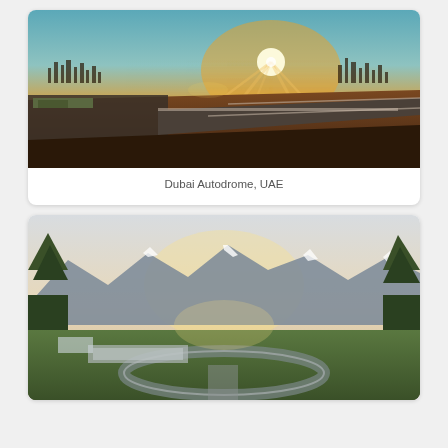[Figure (photo): Aerial sunset photo of Dubai Autodrome racing circuit with pit lane buildings, race track, and Dubai city skyline silhouetted in the background under a golden sky.]
Dubai Autodrome, UAE
[Figure (photo): Aerial photo of a karting or racing circuit surrounded by green landscape, trees, and mountains with snow-capped peaks in the background under a hazy sky.]